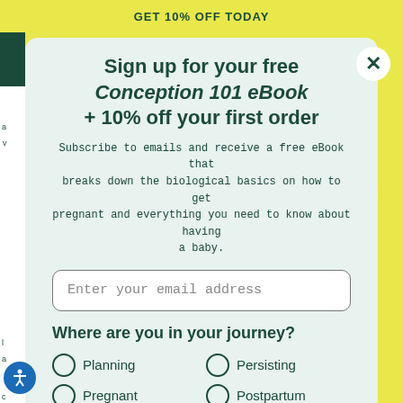GET 10% OFF TODAY
Sign up for your free Conception 101 eBook + 10% off your first order
Subscribe to emails and receive a free eBook that breaks down the biological basics on how to get pregnant and everything you need to know about having a baby.
Enter your email address
Where are you in your journey?
Planning
Persisting
Pregnant
Postpartum
Subscribe